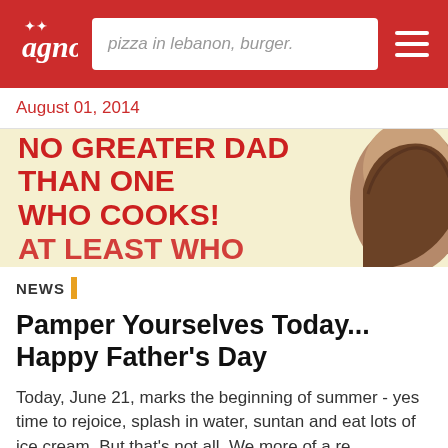[Figure (screenshot): Website header with red background, logo on left, search box with text 'pizza in lebanon, burger.' in center, hamburger menu icon on right]
August 01, 2014
[Figure (infographic): Banner with cream/yellow background showing bold red text 'NO GREATER DAD THAN ONE WHO COOKS! AT LEAST WHO' and a partial photo of a person's head on the right side]
NEWS
Pamper Yourselves Today... Happy Father's Day
Today, June 21, marks the beginning of summer - yes time to rejoice, splash in water, suntan and eat lots of ice cream. But that's not all. We more of a re
June 20, 2014 | Popular